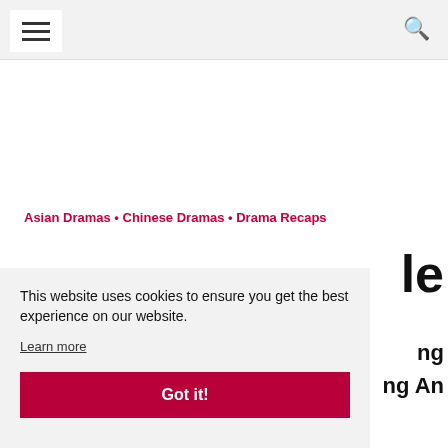Menu | Search
Asian Dramas • Chinese Dramas • Drama Recaps
le
This website uses cookies to ensure you get the best experience on our website.
Learn more
Got it!
ng
ng An